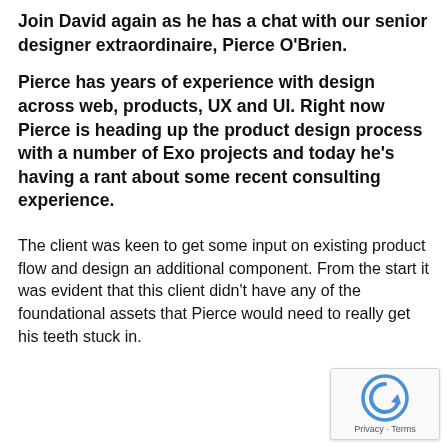Join David again as he has a chat with our senior designer extraordinaire, Pierce O'Brien.
Pierce has years of experience with design across web, products, UX and UI. Right now Pierce is heading up the product design process with a number of Exo projects and today he's having a rant about some recent consulting experience.
The client was keen to get some input on existing product flow and design an additional component. From the start it was evident that this client didn't have any of the foundational assets that Pierce would need to really get his teeth stuck in.